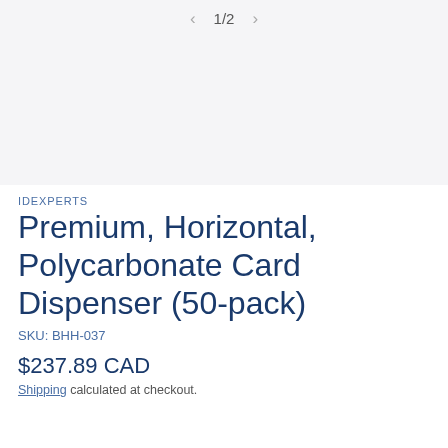[Figure (other): Product image carousel area showing blank/white image placeholder with navigation arrows and 1/2 counter]
IDEXPERTS
Premium, Horizontal, Polycarbonate Card Dispenser (50-pack)
SKU: BHH-037
$237.89 CAD
Shipping calculated at checkout.